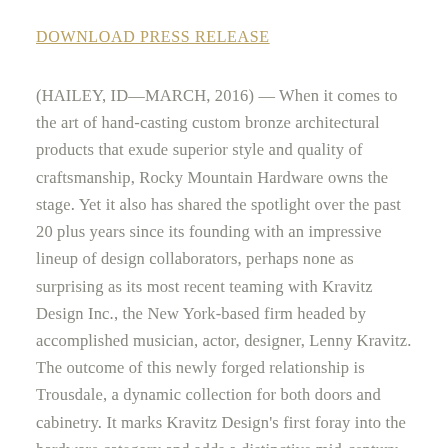DOWNLOAD PRESS RELEASE
(HAILEY, ID—MARCH, 2016) — When it comes to the art of hand-casting custom bronze architectural products that exude superior style and quality of craftsmanship, Rocky Mountain Hardware owns the stage. Yet it also has shared the spotlight over the past 20 plus years since its founding with an impressive lineup of design collaborators, perhaps none as surprising as its most recent teaming with Kravitz Design Inc., the New York-based firm headed by accomplished musician, actor, designer, Lenny Kravitz. The outcome of this newly forged relationship is Trousdale, a dynamic collection for both doors and cabinetry. It marks Kravitz Design's first foray into the hardware category and adds a distinctive mid-century